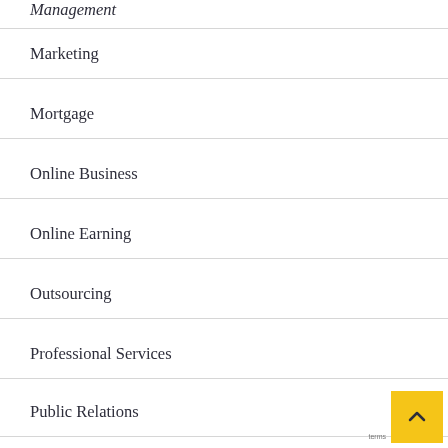Management
Marketing
Mortgage
Online Business
Online Earning
Outsourcing
Professional Services
Public Relations
Safety Solution